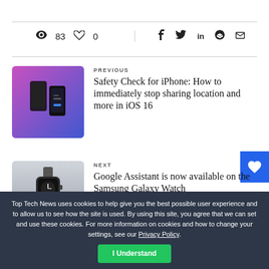83 views · 0 likes · share on Facebook, Twitter, LinkedIn, Pinterest, Email
[Figure (photo): iPhone with purple gradient background for Safety Check article thumbnail]
PREVIOUS
Safety Check for iPhone: How to immediately stop sharing location and more in iOS 16
[Figure (photo): Samsung Galaxy Watch on wrist for Google Assistant article thumbnail]
NEXT
Google Assistant is now available on the Samsung Galaxy Watch
Top Tech News uses cookies to help give you the best possible user experience and to allow us to see how the site is used. By using this site, you agree that we can set and use these cookies. For more information on cookies and how to change your settings, see our Privacy Policy.
I Understand